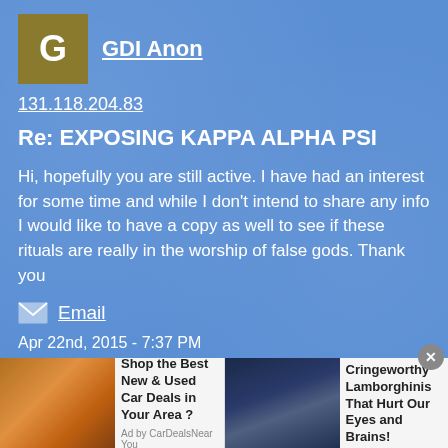GDI Anon
131.118.204.83
Re: EXPOSING KAPPA ALPHA PSI
Hi, hopefully you are still active. I have had an interest for some time and while I don't intend to share any info I would like to have a copy as well to see if these rituals are really in the worship of false gods. Thank you
Email
Apr 22nd, 2015 - 7:37 PM
Quote
Reply
[Figure (screenshot): Ad bar at bottom with two advertisements: 'Shop the Best New & Used Car Deals in Your Area?' and '20 Cringeworthy Lamborghinis That Hurt Our Eyes and Brains!']